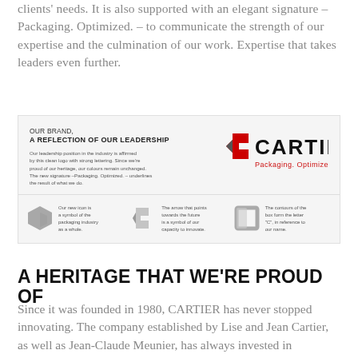clients' needs. It is also supported with an elegant signature – Packaging. Optimized. – to communicate the strength of our expertise and the culmination of our work. Expertise that takes leaders even further.
[Figure (infographic): Brand identity panel for Cartier Packaging. Top section: heading 'OUR BRAND, A REFLECTION OF OUR LEADERSHIP' with descriptive text about clean logo with strong lettering and unchanged colours, alongside the Cartier 'Packaging. Optimized.' logo in black and red with geometric C icon. Bottom section: three icon panels explaining the new icon as symbol of packaging industry, the arrow pointing to future as symbol of capacity to innovate, and the contours forming the letter C in reference to their name.]
A HERITAGE THAT WE'RE PROUD OF
Since it was founded in 1980, CARTIER has never stopped innovating. The company established by Lise and Jean Cartier, as well as Jean-Claude Meunier, has always invested in developing, validating and expanding our offer to better support clients as they evolve and grow their